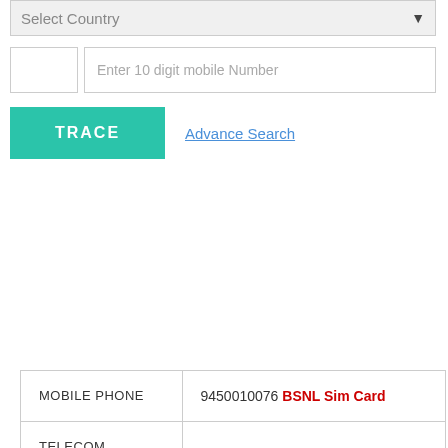[Figure (screenshot): Select Country dropdown bar with placeholder text and dropdown arrow]
[Figure (screenshot): Phone number input row with country code box and 10-digit mobile number field]
[Figure (screenshot): TRACE button in teal/green color]
Advance Search
| Field | Value |
| --- | --- |
| MOBILE PHONE | 9450010076 BSNL Sim Card |
| TELECOM CIRCLE | UTTAR PRADESH(EAST) |
| NETWORK OPERATOR | BSNL |
| SIGNALING | GSM |
|  |  |